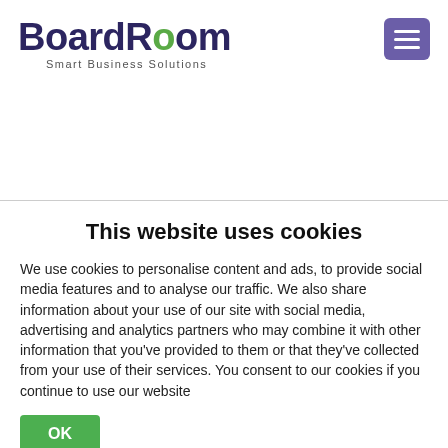[Figure (logo): BoardRoom Smart Business Solutions logo with purple text and green letter O]
[Figure (other): Purple hamburger menu button icon with three white horizontal lines]
This website uses cookies
We use cookies to personalise content and ads, to provide social media features and to analyse our traffic. We also share information about your use of our site with social media, advertising and analytics partners who may combine it with other information that you've provided to them or that they've collected from your use of their services. You consent to our cookies if you continue to use our website
OK